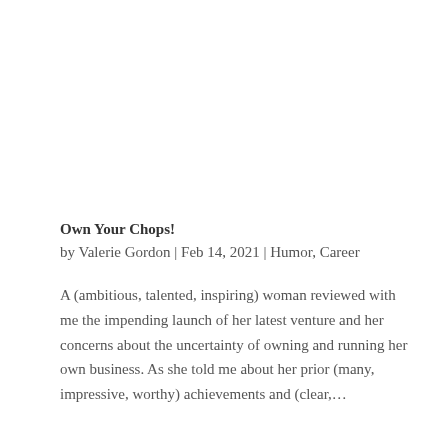Own Your Chops!
by Valerie Gordon | Feb 14, 2021 | Humor, Career
A (ambitious, talented, inspiring) woman reviewed with me the impending launch of her latest venture and her concerns about the uncertainty of owning and running her own business. As she told me about her prior (many, impressive, worthy) achievements and (clear,...